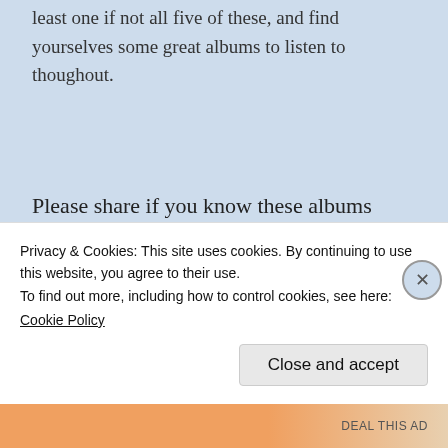least one if not all five of these, and find yourselves some great albums to listen to thoughout.
Please share if you know these albums already as well as any albums you find unskippable!
laursenavfc / 29th Oct 2020 / Music / albums,
Privacy & Cookies: This site uses cookies. By continuing to use this website, you agree to their use.
To find out more, including how to control cookies, see here:
Cookie Policy
Close and accept